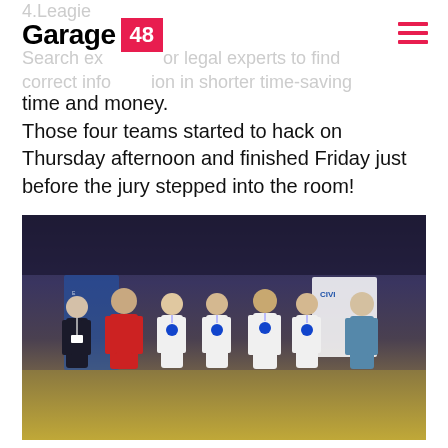Garage 48 [logo with hamburger menu]
4.Leagie
Search for legal experts to find correct information in shorter time-saving time and money.
Those four teams started to hack on Thursday afternoon and finished Friday just before the jury stepped into the room!
[Figure (photo): Group photo of seven people (hackathon team) standing in front of a presentation backdrop. Most participants wear white t-shirts with a blue circular logo. One person wears a red jacket. The background shows a dark stage-like environment with banners.]